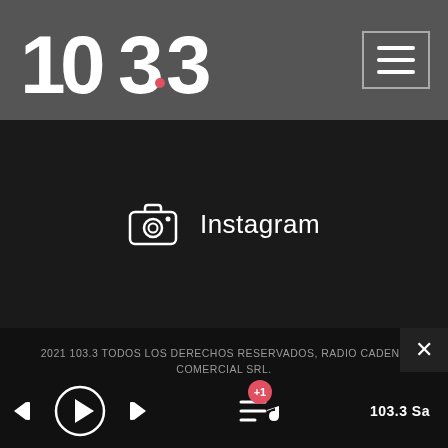[Figure (logo): 103.3 FM radio station logo in white on dark gray header background]
[Figure (other): Hamburger menu icon (three horizontal white lines) inside a bordered square button]
[Figure (other): Instagram camera icon in white, followed by the text 'Instagram']
2021 103.3 TODOS LOS DERECHOS RESERVADOS, RADIO CADENA COMERCIAL SRL.
[Figure (other): Media player bar at the bottom with skip-back, play, skip-forward controls, a playlist icon with +1 badge, and station label '103.3 Sa']